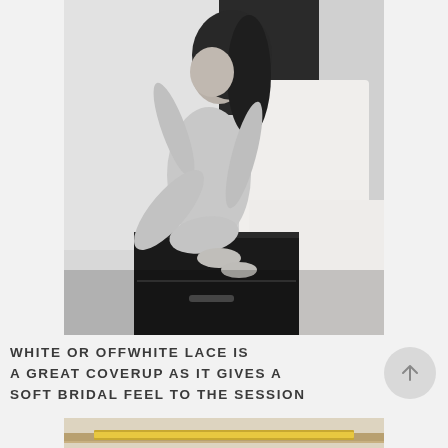[Figure (photo): Black and white photograph of a woman in a tank top sitting on a dark nightstand beside a bed with white pillows and white bedding, with her knees drawn up.]
WHITE OR OFFWHITE LACE IS A GREAT COVERUP AS IT GIVES A SOFT BRIDAL FEEL TO THE SESSION
[Figure (photo): Partial view of a second photograph showing what appears to be a dresser or furniture piece with gold/metallic accents.]